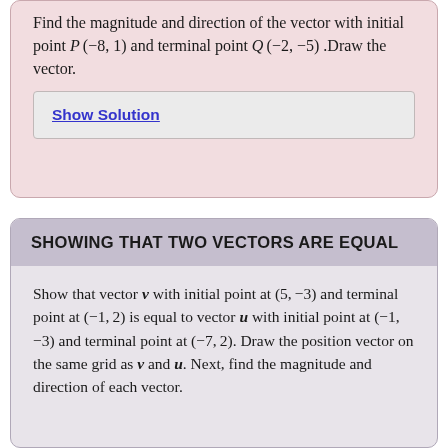Find the magnitude and direction of the vector with initial point P(−8, 1) and terminal point Q(−2, −5). Draw the vector.
Show Solution
SHOWING THAT TWO VECTORS ARE EQUAL
Show that vector v with initial point at (5, −3) and terminal point at (−1, 2) is equal to vector u with initial point at (−1, −3) and terminal point at (−7, 2). Draw the position vector on the same grid as v and u. Next, find the magnitude and direction of each vector.